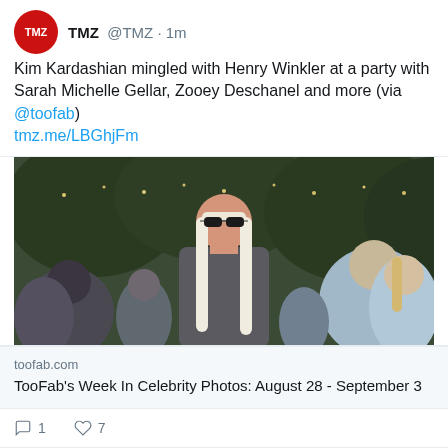@TMZ · 1m
Kim Kardashian mingled with Henry Winkler at a party with Sarah Michelle Gellar, Zooey Deschanel and more (via @toofab)
tmz.me/LBGhjFm
[Figure (photo): Photo of a woman with long blonde hair and dark sunglasses wearing a grey outfit, standing outdoors at a party with string lights and trees in the background]
toofab.com
TooFab's Week In Celebrity Photos: August 28 - September 3
1   7